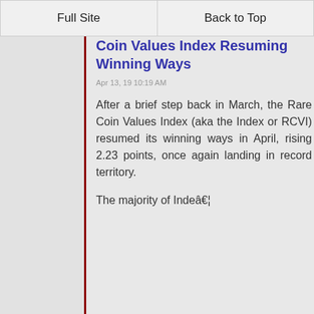Full Site | Back to Top
Coin Values Index Resuming Winning Ways
Apr 13, 19 10:19 AM
After a brief step back in March, the Rare Coin Values Index (aka the Index or RCVI) resumed its winning ways in April, rising 2.23 points, once again landing in record territory.

The majority of Indeâ€¦